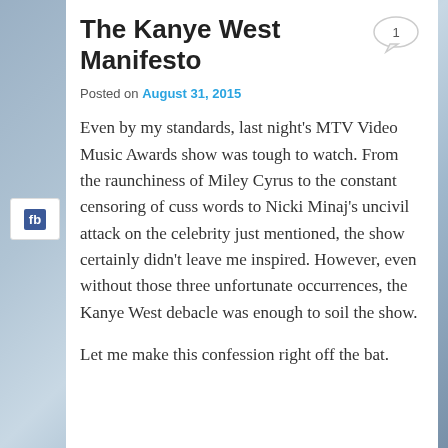The Kanye West Manifesto
Posted on August 31, 2015
Even by my standards, last night's MTV Video Music Awards show was tough to watch. From the raunchiness of Miley Cyrus to the constant censoring of cuss words to Nicki Minaj's uncivil attack on the celebrity just mentioned, the show certainly didn't leave me inspired. However, even without those three unfortunate occurrences, the Kanye West debacle was enough to soil the show.
Let me make this confession right off the bat.